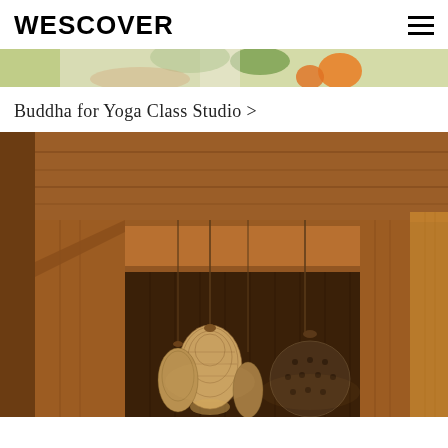WESCOVER
[Figure (photo): Partial top view of a photo showing hands with green and orange items on a light background, cropped at the top of the page]
Buddha for Yoga Class Studio >
[Figure (photo): Interior photo of a warm wooden ceiling and walls with hanging wicker/rattan pendant lamps in various shapes suspended from thin cords]